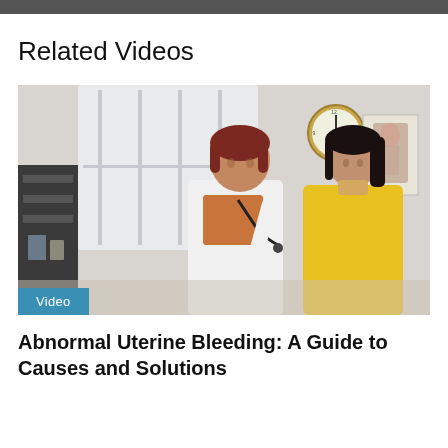Related Videos
[Figure (photo): A female doctor in a white coat using a stethoscope to examine a female patient in a yellow dress in a medical office. A wall clock and anatomy chart are visible in the background.]
Abnormal Uterine Bleeding: A Guide to Causes and Solutions